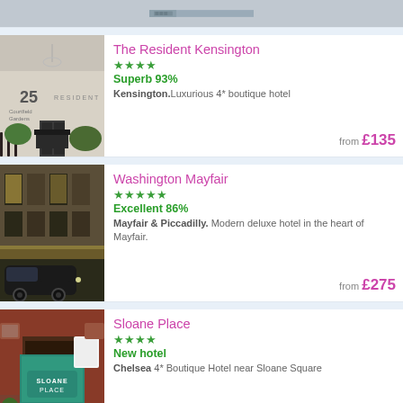[Figure (photo): Partial top strip showing bottom of a building photo]
The Resident Kensington
★★★★
Superb 93%
Kensington. Luxurious 4* boutique hotel
from £135
[Figure (photo): Photo of The Resident Kensington hotel exterior with number 25 on wall]
Washington Mayfair
★★★★★
Excellent 86%
Mayfair & Piccadilly. Modern deluxe hotel in the heart of Mayfair.
from £275
[Figure (photo): Photo of Washington Mayfair hotel exterior at night with black cab]
Sloane Place
★★★★
New hotel
Chelsea 4* Boutique Hotel near Sloane Square
from £211
[Figure (photo): Photo of Sloane Place hotel entrance with teal arched canopy]